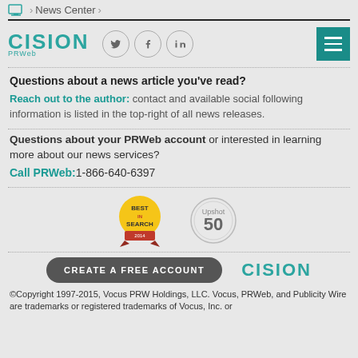News Center
[Figure (logo): Cision PRWeb logo with social media icons (Twitter, Facebook, LinkedIn) and hamburger menu button]
Questions about a news article you've read?
Reach out to the author: contact and available social following information is listed in the top-right of all news releases.
Questions about your PRWeb account or interested in learning more about our news services?
Call PRWeb: 1-866-640-6397
[Figure (logo): Best Search badge and Upshot 50 badge]
[Figure (logo): Create a Free Account button and Cision logo]
©Copyright 1997-2015, Vocus PRW Holdings, LLC. Vocus, PRWeb, and Publicity Wire are trademarks or registered trademarks of Vocus, Inc. or